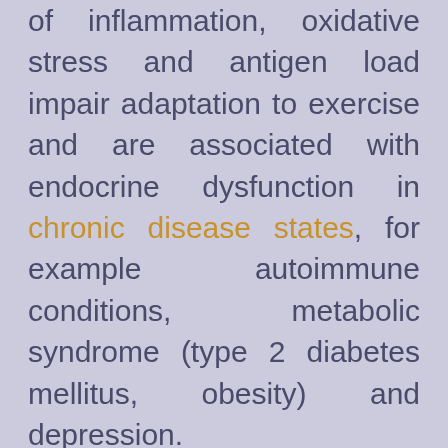of inflammation, oxidative stress and antigen load impair adaptation to exercise and are associated with endocrine dysfunction in chronic disease states, for example autoimmune conditions, metabolic syndrome (type 2 diabetes mellitus, obesity) and depression.

Evidence links the composition of the gut microbiota to changes in circulating metabolites and obesity. For example, low abundance of certain